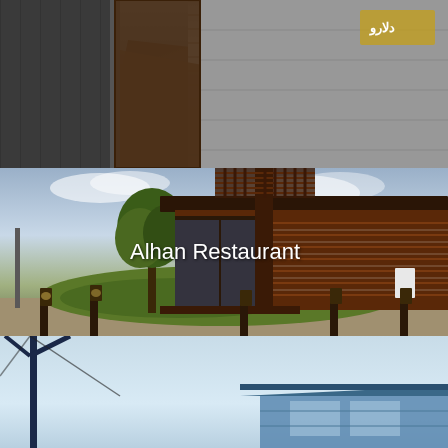[Figure (photo): Exterior view of a commercial building with dark metal/wood facade, awnings, and urban street-level appearance]
[Figure (photo): Alhan Restaurant exterior — a modern wood-paneled restaurant building with pergola, glass walls, landscaped lawn, trees, outdoor lighting fixtures, and patio furniture. White text overlay reads 'Alhan Restaurant'.]
[Figure (photo): Partial exterior view of a blue-roofed building with a utility pole in the foreground against a light sky]